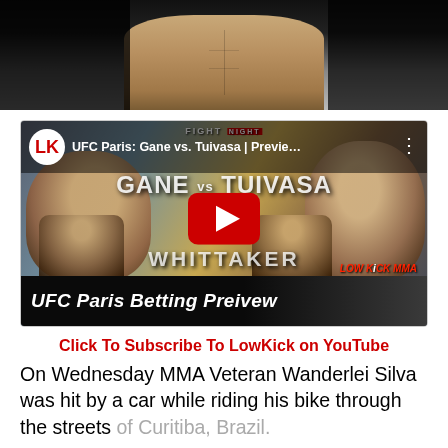[Figure (photo): Cropped photo of a fighter's torso/midsection against dark background]
[Figure (screenshot): YouTube video thumbnail for UFC Paris: Gane vs. Tuivasa | Preview... - UFC Paris Betting Preivew video by LowKickMMA channel, showing fighters Gane, Tuivasa, and Whittaker with a red YouTube play button]
Click To Subscribe To LowKick on YouTube
On Wednesday MMA Veteran Wanderlei Silva was hit by a car while riding his bike through the streets of Curitiba, Brazil.